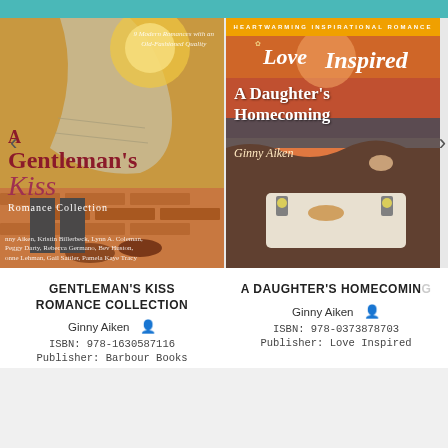[Figure (photo): Book cover of A Gentleman's Kiss Romance Collection showing a woman in a period dress and shoes on a brick path]
[Figure (photo): Book cover of A Daughter's Homecoming by Ginny Aiken with Love Inspired branding, showing a sunset picnic scene]
GENTLEMAN'S KISS ROMANCE COLLECTION
A DAUGHTER'S HOMECOMING
Ginny Aiken
Ginny Aiken
ISBN: 978-1630587116
ISBN: 978-0373878703
Publisher: Barbour Books
Publisher: Love Inspired